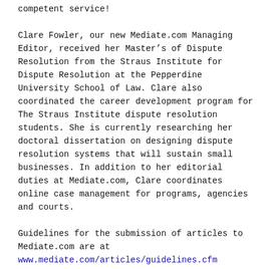competent service!
Clare Fowler, our new Mediate.com Managing Editor, received her Master’s of Dispute Resolution from the Straus Institute for Dispute Resolution at the Pepperdine University School of Law. Clare also coordinated the career development program for The Straus Institute dispute resolution students. She is currently researching her doctoral dissertation on designing dispute resolution systems that will sustain small businesses. In addition to her editorial duties at Mediate.com, Clare coordinates online case management for programs, agencies and courts.
Guidelines for the submission of articles to Mediate.com are at www.mediate.com/articles/guidelines.cfm